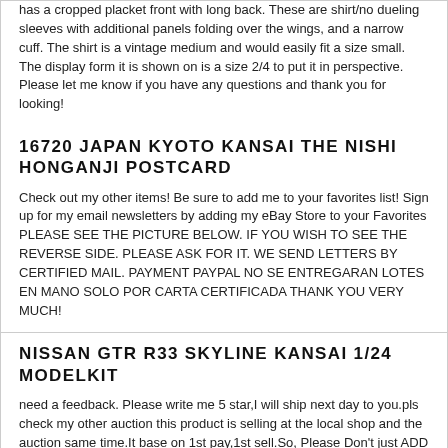has a cropped placket front with long back. These are shirt/no dueling sleeves with additional panels folding over the wings, and a narrow cuff. The shirt is a vintage medium and would easily fit a size small. The display form it is shown on is a size 2/4 to put it in perspective. Please let me know if you have any questions and thank you for looking!
16720 JAPAN KYOTO KANSAI THE NISHI HONGANJI POSTCARD
Check out my other items! Be sure to add me to your favorites list! Sign up for my email newsletters by adding my eBay Store to your Favorites PLEASE SEE THE PICTURE BELOW. IF YOU WISH TO SEE THE REVERSE SIDE. PLEASE ASK FOR IT. WE SEND LETTERS BY CERTIFIED MAIL. PAYMENT PAYPAL NO SE ENTREGARAN LOTES EN MANO SOLO POR CARTA CERTIFICADA THANK YOU VERY MUCH!
NISSAN GTR R33 SKYLINE KANSAI 1/24 MODELKIT
need a feedback. Please write me 5 star,I will ship next day to you.pls check my other auction this product is selling at the local shop and the auction same time.It base on 1st pay,1st sell.So, Please Don't just ADD to Watch list it.place the bid now. WILL COMBINE SHIPMENT IF YOU WIN MORE. winner pay US$10.99 air mail to worldwide + US$ 3.99(a new postal box) + US$ 4.99(registered mail) need signature when its arrived.it won't lost in the mail.total will be US$19.99(registered) air mail to next door or worldwide shipping cost.ADD US$2.00 for 2nd same size modelkit postage.ADD US$3.00 for 3rd same size modelkit postage.WILL COMBINE SHIPMENT IF YOU WIN MORE. Payment by